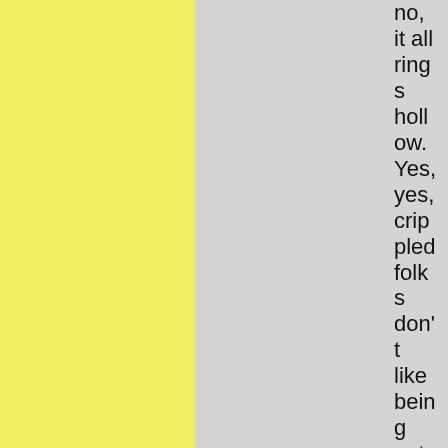no, it all rings hollow. Yes, yes, crippled folks don't like being patronized for their disa